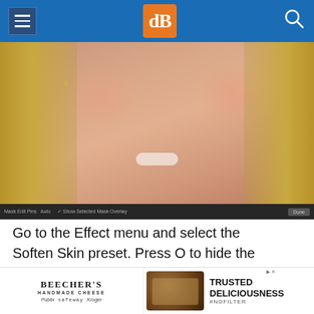dPS navigation header
[Figure (screenshot): Close-up photo of a woman's face with blonde hair and a slight smile, shown in a Lightroom-style editing interface. Bottom toolbar reads: 'Mask Edit Pins / Auto / Show Selected Mask Overlay / Done']
Go to the Effect menu and select the Soften Skin preset. Press O to hide the mask overlay and you will see something like the screenshot below. Remember, this is the Soften Skin preset at
[Figure (advertisement): Beecher's Handmade Cheese advertisement with food photo and text 'TRUSTED DELICIOUSNESS #NOFILTER'. Retailers: Publix, Safeway, Kroger]